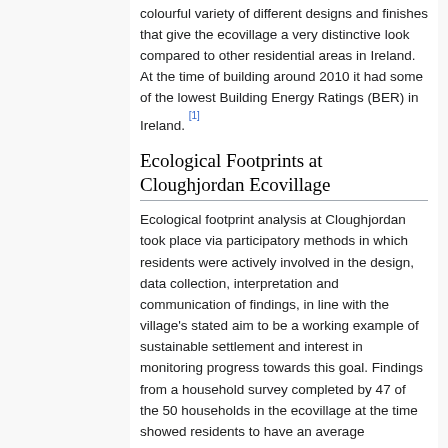colourful variety of different designs and finishes that give the ecovillage a very distinctive look compared to other residential areas in Ireland. At the time of building around 2010 it had some of the lowest Building Energy Ratings (BER) in Ireland. [1]
Ecological Footprints at Cloughjordan Ecovillage
Ecological footprint analysis at Cloughjordan took place via participatory methods in which residents were actively involved in the design, data collection, interpretation and communication of findings, in line with the village's stated aim to be a working example of sustainable settlement and interest in monitoring progress towards this goal. Findings from a household survey completed by 47 of the 50 households in the ecovillage at the time showed residents to have an average ecological footprint (EF) of 2.03 global hectares (gha). Based on WWF estimates that the maximum average EF that would allow